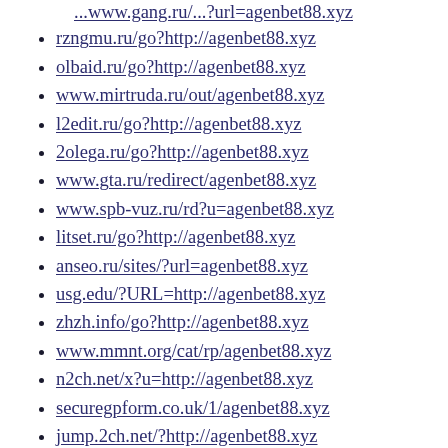...www.gang.ru/...?url=agenbet88.xyz (partial, top)
rzngmu.ru/go?http://agenbet88.xyz
olbaid.ru/go?http://agenbet88.xyz
www.mirtruda.ru/out/agenbet88.xyz
l2edit.ru/go?http://agenbet88.xyz
2olega.ru/go?http://agenbet88.xyz
www.gta.ru/redirect/agenbet88.xyz
www.spb-vuz.ru/rd?u=agenbet88.xyz
litset.ru/go?http://agenbet88.xyz
anseo.ru/sites/?url=agenbet88.xyz
usg.edu/?URL=http://agenbet88.xyz
zhzh.info/go?http://agenbet88.xyz
www.mmnt.org/cat/rp/agenbet88.xyz
n2ch.net/x?u=http://agenbet88.xyz
securegpform.co.uk/1/agenbet88.xyz
jump.2ch.net/?http://agenbet88.xyz
jacobberger.com/?URL=agenbet88.xyz
centernorth.com/?URL=agenbet88.xyz
www.ereality.ru/goto/agenbet88.xyz
...cfobiz.ru/go?http://agenbet88... (partial, bottom)